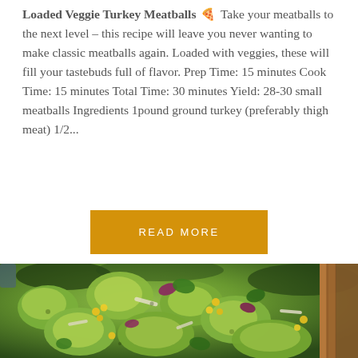Loaded Veggie Turkey Meatballs 🍊 Take your meatballs to the next level – this recipe will leave you never wanting to make classic meatballs again. Loaded with veggies, these will fill your tastebuds full of flavor. Prep Time: 15 minutes Cook Time: 15 minutes Total Time: 30 minutes Yield: 28-30 small meatballs Ingredients 1pound ground turkey (preferably thigh meat) 1/2...
READ MORE
[Figure (photo): Close-up photo of a salad bowl containing chopped avocado, shredded chicken, corn, red onion, cilantro, and other vegetables with a wooden spoon visible on the right side.]